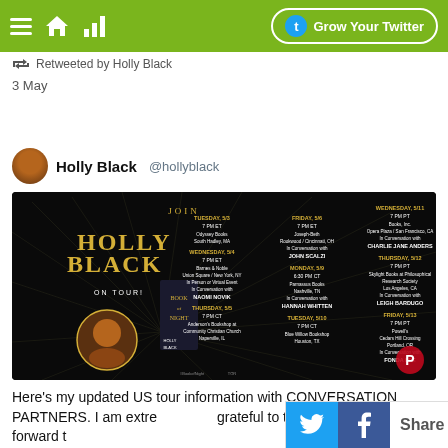Grow Your Twitter
Retweeted by Holly Black
3 May
Holly Black @hollyblack
[Figure (infographic): Holly Black Book of Night On Tour promotional image listing tour dates: Tuesday 5/3 7PM ET Odyssey Books South Hadley MA; Wednesday 5/4 7PM ET Barnes & Noble Union Square New York NY In Person or Virtual Event In Conversation with NAOMI NOVIK; Thursday 5/5 7PM CT Anderson's Bookshop at Community Christian Church Naperville IL; Friday 5/6 7PM ET Joseph-Beth Rookwood Cincinnati OH In Conversation with JOHN SCALZI; Monday 5/9 6:30PM CT Parnassus Books Nashville TN In Conversation with HANNAH WHITTEN; Tuesday 5/10 7PM CT Blue Willow Bookshop Houston TX; Wednesday 5/11 7PM PT Books Inc Opera Plaza San Francisco CA In Conversation with CHARLIE JANE ANDERS; Thursday 5/12 7PM PT Skylight Books at Philosophical Research Society Los Angeles CA In Conversation with LEIGH BARDUGO; Friday 5/13 7PM PT Powell's Cedars Hill Crossing Portland OR In Conversation with FONDA LEE]
Here's my updated US tour information with CONVERSATION PARTNERS. I am extre grateful to these folks and look forward t